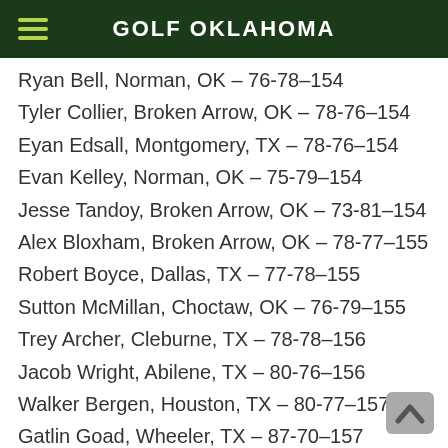GOLF OKLAHOMA
Ryan Bell, Norman, OK – 76-78–154
Tyler Collier, Broken Arrow, OK – 78-76–154
Eyan Edsall, Montgomery, TX – 78-76–154
Evan Kelley, Norman, OK – 75-79–154
Jesse Tandoy, Broken Arrow, OK – 73-81–154
Alex Bloxham, Broken Arrow, OK – 78-77–155
Robert Boyce, Dallas, TX – 77-78–155
Sutton McMillan, Choctaw, OK – 76-79–155
Trey Archer, Cleburne, TX – 78-78–156
Jacob Wright, Abilene, TX – 80-76–156
Walker Bergen, Houston, TX – 80-77–157
Gatlin Goad, Wheeler, TX – 87-70–157
Rhett Hughes, Edmond, OK – 79-78–157
Kristoffer L. Kuvaas, Houston, TX – 80-78–158
Josh Oldroyd, Southlake, TX – 80-78–158
Tobey Wills, Richmond, TX – 80-78–158